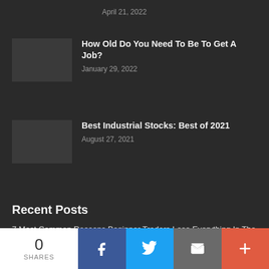April 21, 2022
How Old Do You Need To Be To Get A Job?
January 29, 2022
Best Industrial Stocks: Best of 2021
August 27, 2021
Recent Posts
7 Most Common Reasons Beginner Traders Lose Everything In The First Month
How to Find Undervalued Stock
0 SHARES
Facebook share button
Twitter share button
Email share button
More share button